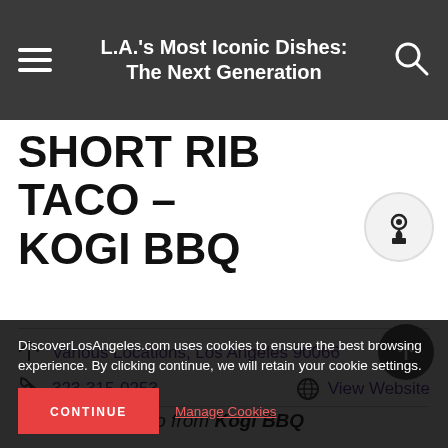L.A.'s Most Iconic Dishes: The Next Generation
SHORT RIB TACO – KOGI BBQ
Various Locations, Los Angeles 90066
323-315-0253
View Website
DiscoverLosAngeles.com uses cookies to ensure the best browsing experience. By clicking continue, we will retain your cookie settings.
CONTINUE
Manage Cookies